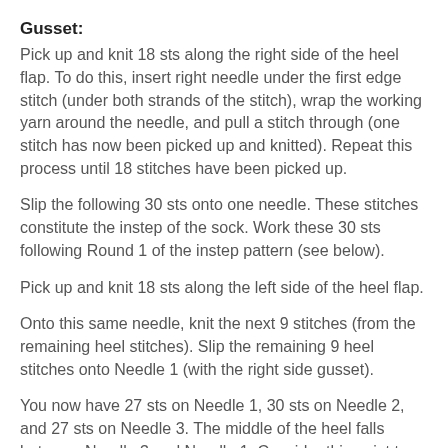Gusset:
Pick up and knit 18 sts along the right side of the heel flap. To do this, insert right needle under the first edge stitch (under both strands of the stitch), wrap the working yarn around the needle, and pull a stitch through (one stitch has now been picked up and knitted). Repeat this process until 18 stitches have been picked up.
Slip the following 30 sts onto one needle. These stitches constitute the instep of the sock. Work these 30 sts following Round 1 of the instep pattern (see below).
Pick up and knit 18 sts along the left side of the heel flap.
Onto this same needle, knit the next 9 stitches (from the remaining heel stitches). Slip the remaining 9 heel stitches onto Needle 1 (with the right side gusset).
You now have 27 sts on Needle 1, 30 sts on Needle 2, and 27 sts on Needle 3. The middle of the heel falls between Needle 3 and Needle 1. Consider this point to be the beginning of the round.